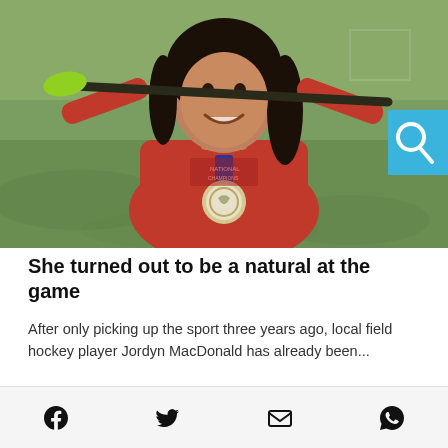[Figure (photo): Young girl in red hoodie holding a field hockey stick behind her shoulders, wearing a medal, smiling on a grass field]
She turned out to be a natural at the game
After only picking up the sport three years ago, local field hockey player Jordyn MacDonald has already been...
Social share icons: Facebook, Twitter, Email, WhatsApp